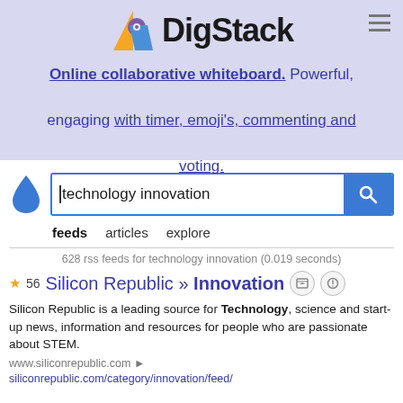[Figure (screenshot): DigStack logo: colorful geometric icon (orange, purple, blue) followed by bold text 'DigStack']
Online collaborative whiteboard. Powerful, engaging with timer, emoji's, commenting and voting.
[Figure (screenshot): Search bar with blue waterDrop icon, text input showing 'technology innovation', and blue search button]
feeds  articles  explore
628 rss feeds for technology innovation (0.019 seconds)
★ 56  Silicon Republic » Innovation  [image icon] [clock icon]
Silicon Republic is a leading source for Technology, science and start-up news, information and resources for people who are passionate about STEM.
www.siliconrepublic.com ▶
siliconrepublic.com/category/innovation/feed/